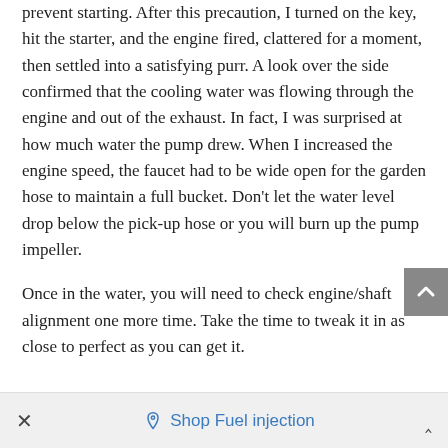prevent starting. After this precaution, I turned on the key, hit the starter, and the engine fired, clattered for a moment, then settled into a satisfying purr. A look over the side confirmed that the cooling water was flowing through the engine and out of the exhaust. In fact, I was surprised at how much water the pump drew. When I increased the engine speed, the faucet had to be wide open for the garden hose to maintain a full bucket. Don't let the water level drop below the pick-up hose or you will burn up the pump impeller.
Once in the water, you will need to check engine/shaft alignment one more time. Take the time to tweak it in as close to perfect as you can get it.
× Shop Fuel injection ^